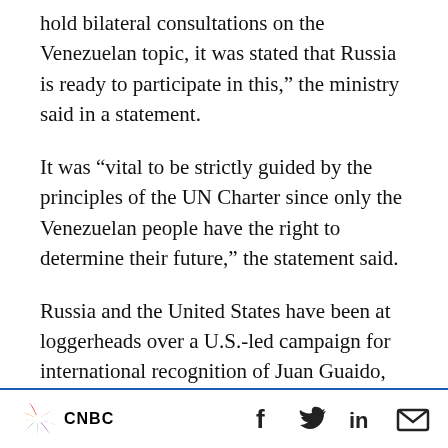hold bilateral consultations on the Venezuelan topic, it was stated that Russia is ready to participate in this,” the ministry said in a statement.
It was “vital to be strictly guided by the principles of the UN Charter since only the Venezuelan people have the right to determine their future,” the statement said.
Russia and the United States have been at loggerheads over a U.S.-led campaign for international recognition of Juan Guaido, the Venezuelan opposition leader who declared
CNBC